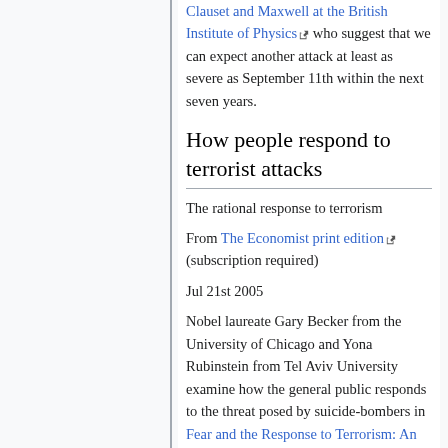Clauset and Maxwell at the British Institute of Physics (external link) who suggest that we can expect another attack at least as severe as September 11th within the next seven years.
How people respond to terrorist attacks
The rational response to terrorism
From The Economist print edition (external link) (subscription required)
Jul 21st 2005
Nobel laureate Gary Becker from the University of Chicago and Yona Rubinstein from Tel Aviv University examine how the general public responds to the threat posed by suicide-bombers in Fear and the Response to Terrorism: An Economic Analysis. (external link)